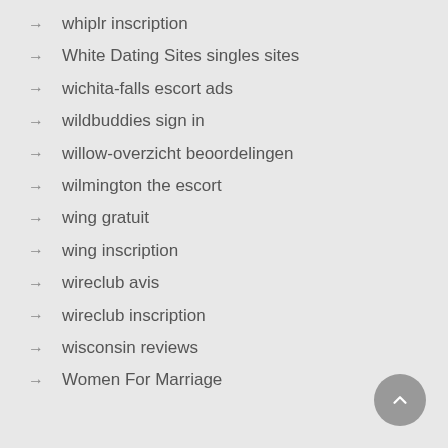→ whiplr inscription
→ White Dating Sites singles sites
→ wichita-falls escort ads
→ wildbuddies sign in
→ willow-overzicht beoordelingen
→ wilmington the escort
→ wing gratuit
→ wing inscription
→ wireclub avis
→ wireclub inscription
→ wisconsin reviews
→ Women For Marriage